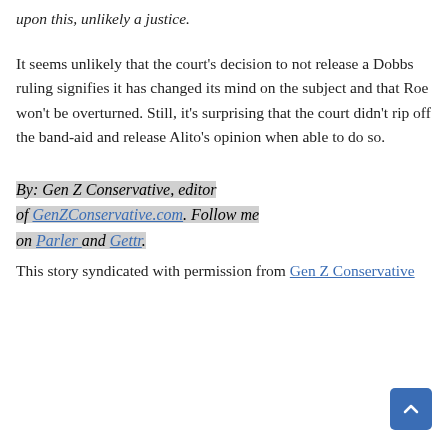upon this, unlikely a justice.
It seems unlikely that the court's decision to not release a Dobbs ruling signifies it has changed its mind on the subject and that Roe won't be overturned. Still, it's surprising that the court didn't rip off the band-aid and release Alito's opinion when able to do so.
By: Gen Z Conservative, editor of GenZConservative.com. Follow me on Parler and Gettr. This story syndicated with permission from Gen Z Conservative